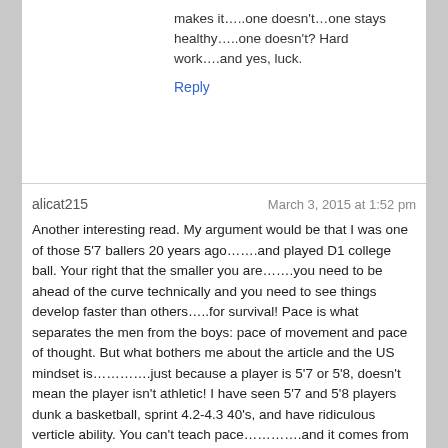makes it.....one doesn't…one stays healthy…..one doesn't? Hard work….and yes, luck.
Reply
alicat215   March 3, 2015 at 1:52 pm
Another interesting read. My argument would be that I was one of those 5'7 ballers 20 years ago…….and played D1 college ball. Your right that the smaller you are……..you need to be ahead of the curve technically and you need to see things develop faster than others…..for survival! Pace is what separates the men from the boys: pace of movement and pace of thought. But what bothers me about the article and the US mindset is………….just because a player is 5'7 or 5'8, doesn't mean the player isn't athletic! I have seen 5'7 and 5'8 players dunk a basketball, sprint 4.2-4.3 40's, and have ridiculous verticle ability. You can't teach pace………….and it comes from ballers that are 5'7 and 6'3! The best players I knew growing up were the short, stocky dudes…….can't knock them off the ball…..they just ricochet off you…..and then run circles around the